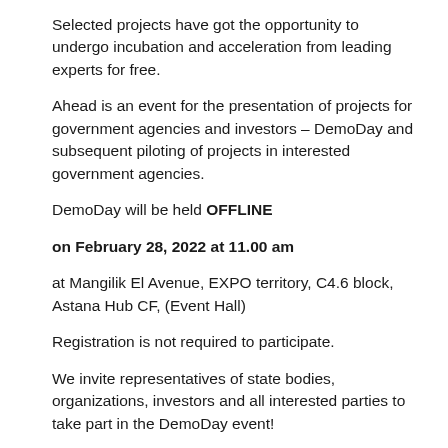Selected projects have got the opportunity to undergo incubation and acceleration from leading experts for free.
Ahead is an event for the presentation of projects for government agencies and investors – DemoDay and subsequent piloting of projects in interested government agencies.
DemoDay will be held OFFLINE
on February 28, 2022 at 11.00 am
at Mangilik El Avenue, EXPO territory, C4.6 block, Astana Hub CF, (Event Hall)
Registration is not required to participate.
We invite representatives of state bodies, organizations, investors and all interested parties to take part in the DemoDay event!